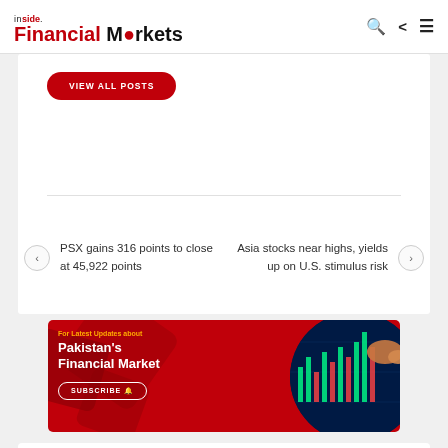[Figure (logo): Inside Financial Markets logo with red and black text, search, share and menu icons]
[Figure (other): VIEW ALL POSTS red rounded button]
PSX gains 316 points to close at 45,922 points
Asia stocks near highs, yields up on U.S. stimulus risk
[Figure (illustration): Advertisement banner for Inside Financial Markets - For Latest Updates about Pakistan's Financial Market with a SUBSCRIBE button. Red background with dark geometric shapes and a circular chart visualization on the right.]